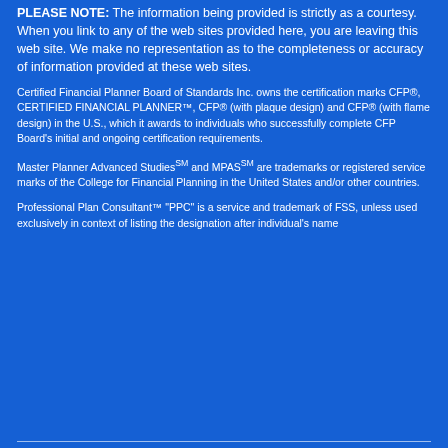PLEASE NOTE: The information being provided is strictly as a courtesy. When you link to any of the web sites provided here, you are leaving this web site. We make no representation as to the completeness or accuracy of information provided at these web sites.
Certified Financial Planner Board of Standards Inc. owns the certification marks CFP®, CERTIFIED FINANCIAL PLANNER™, CFP® (with plaque design) and CFP® (with flame design) in the U.S., which it awards to individuals who successfully complete CFP Board's initial and ongoing certification requirements.
Master Planner Advanced StudiesSM and MPASSM are trademarks or registered service marks of the College for Financial Planning in the United States and/or other countries.
Professional Plan Consultant™ "PPC" is a service and trademark of FSS, unless used exclusively in context of listing the designation after individual's name